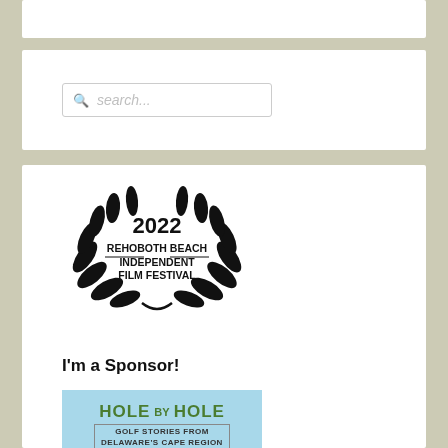[Figure (logo): 2022 Rehoboth Beach Independent Film Festival laurel wreath logo in black and white]
I'm a Sponsor!
[Figure (illustration): Book cover: 'Hole by Hole - Golf Stories from Delaware's Cape Region and Beyond' on a light blue background with green and brown text]